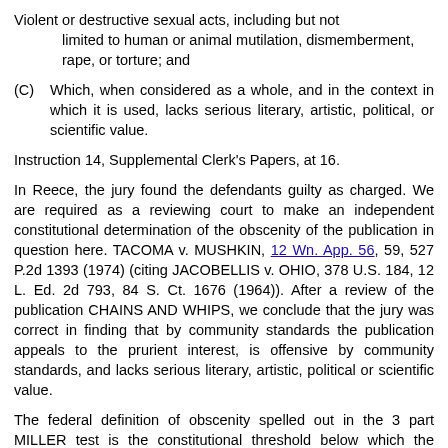Violent or destructive sexual acts, including but not limited to human or animal mutilation, dismemberment, rape, or torture; and
(C) Which, when considered as a whole, and in the context in which it is used, lacks serious literary, artistic, political, or scientific value.
Instruction 14, Supplemental Clerk's Papers, at 16.
In Reece, the jury found the defendants guilty as charged. We are required as a reviewing court to make an independent constitutional determination of the obscenity of the publication in question here. TACOMA v. MUSHKIN, 12 Wn. App. 56, 59, 527 P.2d 1393 (1974) (citing JACOBELLIS v. OHIO, 378 U.S. 184, 12 L. Ed. 2d 793, 84 S. Ct. 1676 (1964)). After a review of the publication CHAINS AND WHIPS, we conclude that the jury was correct in finding that by community standards the publication appeals to the prurient interest, is offensive by community standards, and lacks serious literary, artistic, political or scientific value.
The federal definition of obscenity spelled out in the 3 part MILLER test is the constitutional threshold below which the states may not go. The Washington courts have long allowed the Legislature to struggle with the attempt to regulate obscenity so long as the ROTH-MILLER test was met. STATE v. REGAN, 97 Wn.2d 47, 640 P.2d 725 (1982). This task is one traditionally left to